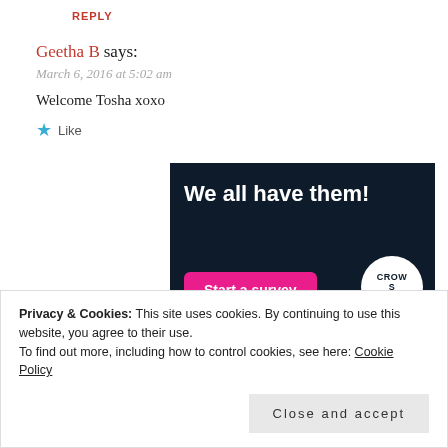REPLY
Geetha B says:
March 6, 2016 at 5:02 am
Welcome Tosha xoxo
Like
[Figure (illustration): Advertisement banner with dark navy background showing text 'We all have them!' with a pink 'Start a survey' button and a circular Crowdsignal logo]
Privacy & Cookies: This site uses cookies. By continuing to use this website, you agree to their use. To find out more, including how to control cookies, see here: Cookie Policy
Close and accept